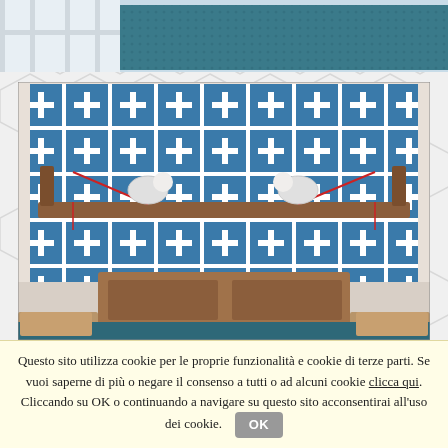[Figure (photo): Top strip of a bedroom photo showing a teal/blue textured bedspread or rug near a window with white frame]
[Figure (photo): Bedroom interior with a wooden headboard shelf mounted on a wall with a bold blue and white geometric tile-like pattern wallpaper. Two adjustable desk lamps with red cords are mounted on the wooden shelf. Below is a wooden bed with blue bedding, flanked by small nightstands.]
Questo sito utilizza cookie per le proprie funzionalità e cookie di terze parti. Se vuoi saperne di più o negare il consenso a tutti o ad alcuni cookie clicca qui. Cliccando su OK o continuando a navigare su questo sito acconsentirai all'uso dei cookie.